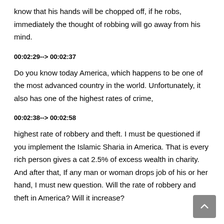know that his hands will be chopped off, if he robs, immediately the thought of robbing will go away from his mind.
00:02:29--> 00:02:37
Do you know today America, which happens to be one of the most advanced country in the world. Unfortunately, it also has one of the highest rates of crime,
00:02:38--> 00:02:58
highest rate of robbery and theft. I must be questioned if you implement the Islamic Sharia in America. That is every rich person gives a cat 2.5% of excess wealth in charity. And after that, If any man or woman drops job of his or her hand, I must new question. Will the rate of robbery and theft in America? Will it increase?